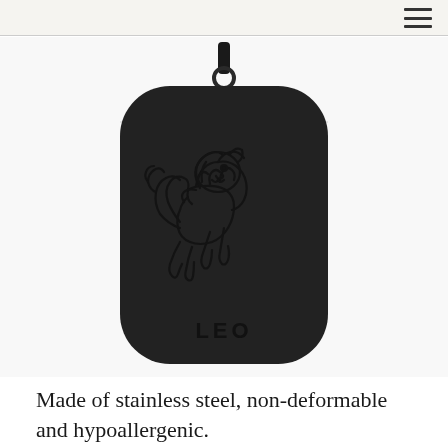[Figure (photo): Black stainless steel Leo zodiac dog-tag pendant necklace. The rectangular rounded-corner tag has a brushed dark finish with an engraved Leo lion zodiac symbol and the word LEO engraved at the bottom. The tag hangs from a dark cord through a small ring at the top.]
Made of stainless steel, non-deformable and hypoallergenic.